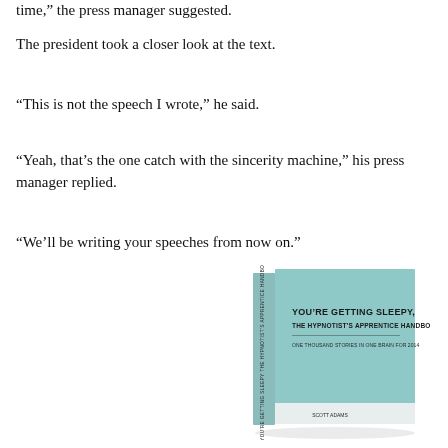time,” the press manager suggested.
The president took a closer look at the text.
“This is not the speech I wrote,” he said.
“Yeah, that’s the one catch with the sincerity machine,” his press manager replied.
“We’ll be writing your speeches from now on.”
[Figure (photo): Book cover of 'You're Getting Sleepy: The Hypnotist's Apprentice Handbook' with a light teal/mint cover, showing title text and subtitle. The book is depicted in a 3D perspective view showing both front cover and spine.]